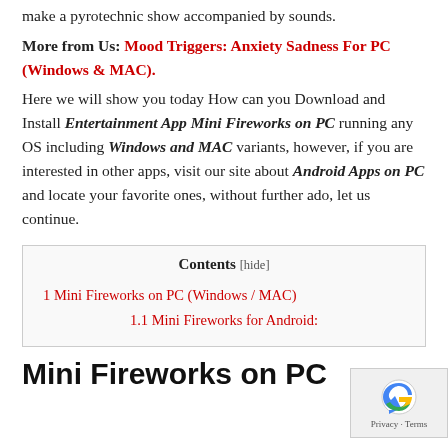make a pyrotechnic show accompanied by sounds.
More from Us: Mood Triggers: Anxiety Sadness For PC (Windows & MAC).
Here we will show you today How can you Download and Install Entertainment App Mini Fireworks on PC running any OS including Windows and MAC variants, however, if you are interested in other apps, visit our site about Android Apps on PC and locate your favorite ones, without further ado, let us continue.
| Contents |
| --- |
| 1 Mini Fireworks on PC (Windows / MAC) |
| 1.1 Mini Fireworks for Android: |
Mini Fireworks on PC